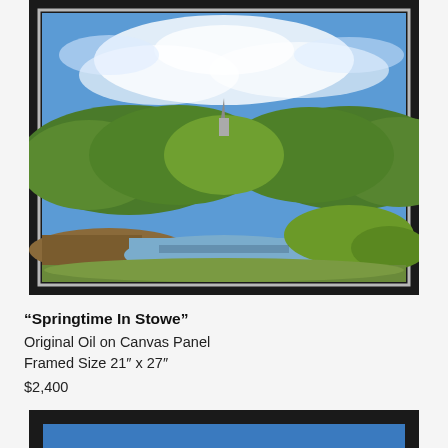[Figure (photo): Framed oil painting titled 'Springtime In Stowe' showing a pastoral landscape with a river or stream in the foreground, green trees and bushes in the middle ground, a church steeple visible among the trees, and a bright blue sky with white clouds above. The painting has a dark black frame with a silver inner frame.]
“Springtime In Stowe”
Original Oil on Canvas Panel
Framed Size 21″ x 27″
$2,400
[Figure (photo): Partial view of a second framed painting at the bottom of the page, showing only the top portion of a dark frame with a glimpse of blue color inside.]